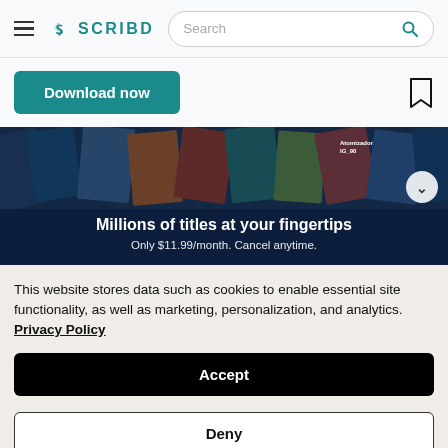SCRIBD — Search bar
Download now
[Figure (illustration): Scribd promotional banner showing a collage of book covers with overlay text: 'Millions of titles at your fingertips. Only $11.99/month. Cancel anytime.']
This website stores data such as cookies to enable essential site functionality, as well as marketing, personalization, and analytics. Privacy Policy
Accept
Deny